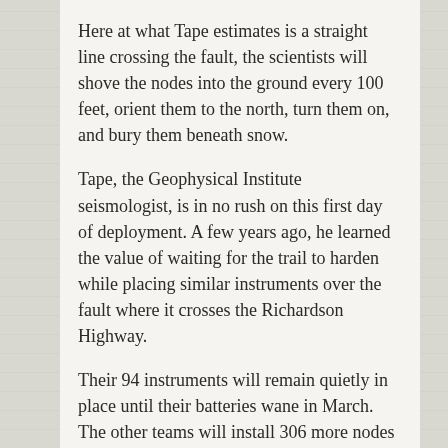Here at what Tape estimates is a straight line crossing the fault, the scientists will shove the nodes into the ground every 100 feet, orient them to the north, turn them on, and bury them beneath snow.
Tape, the Geophysical Institute seismologist, is in no rush on this first day of deployment. A few years ago, he learned the value of waiting for the trail to harden while placing similar instruments over the fault where it crosses the Richardson Highway.
Their 94 instruments will remain quietly in place until their batteries wane in March. The other teams will install 306 more nodes closer to the highway from Trapper Creek to Nenana. Those teams will install seismometers about 1 kilometer from one another.
Near the end of March 2019, someone will retrieve all of the nodes. By then, the instruments will be full of information of how much the ground shook, and in which direction. The